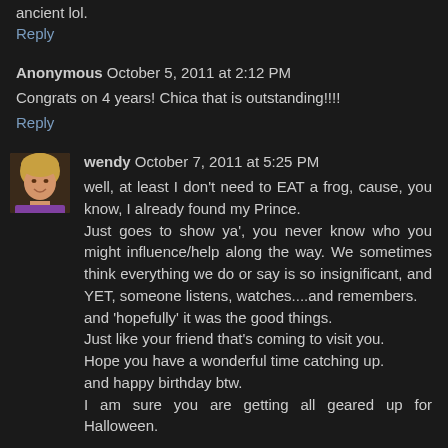ancient lol.
Reply
Anonymous October 5, 2011 at 2:12 PM
Congrats on 4 years! Chica that is outstanding!!!!
Reply
[Figure (photo): Avatar photo of user 'wendy', a woman with blonde hair smiling]
wendy October 7, 2011 at 5:25 PM
well, at least I don't need to EAT a frog, cause, you know, I already found my Prince.
Just goes to show ya', you never know who you might influence/help along the way. We sometimes think everything we do or say is so insignificant, and YET, someone listens, watches....and remembers.
and 'hopefully' it was the good things.
Just like your friend that's coming to visit you.
Hope you have a wonderful time catching up.
and happy birthday btw.
I am sure you are getting all geared up for Halloween.